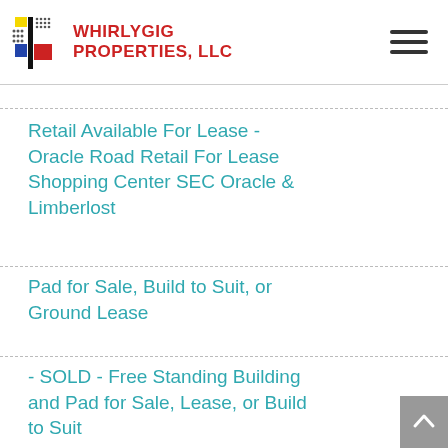Whirlygig Properties, LLC
Retail Available For Lease - Oracle Road Retail For Lease Shopping Center SEC Oracle & Limberlost
Pad for Sale, Build to Suit, or Ground Lease
- SOLD - Free Standing Building and Pad for Sale, Lease, or Build to Suit